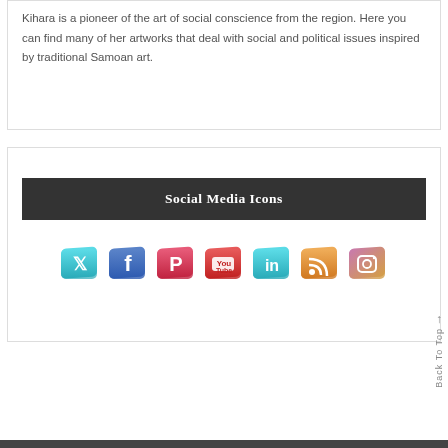Kihara is a pioneer of the art of social conscience from the region. Here you can find many of her artworks that deal with social and political issues inspired by traditional Samoan art.
Social Media Icons
[Figure (illustration): Row of seven 3D social media icons: Twitter (teal bird), Facebook (blue f), Pinterest (red P), YouTube (red/white play), LinkedIn (teal in), RSS (orange feed), Instagram (purple/gold camera)]
Back To Top